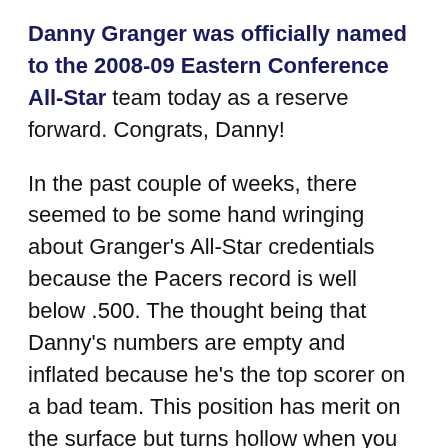Danny Granger was officially named to the 2008-09 Eastern Conference All-Star team today as a reserve forward. Congrats, Danny!
In the past couple of weeks, there seemed to be some hand wringing about Granger's All-Star credentials because the Pacers record is well below .500. The thought being that Danny's numbers are empty and inflated because he's the top scorer on a bad team. This position has merit on the surface but turns hollow when you look past the NBA standings and box scores. In fact, it was easy to read a column supporting this position and realize the writer has been reading about Granger but not actually watching all of his games.
The Pacers have been in tight games all year including, 18 games so far that went down to the final...